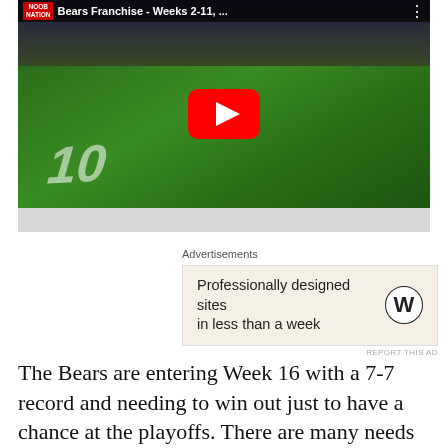[Figure (screenshot): YouTube video thumbnail showing a Madden NFL football game. Title bar reads 'Bears Franchise - Weeks 2-11, ...' with NOOB NATION branding. A red YouTube play button overlay is centered on the video. The game shows a football field with players.]
Advertisements
[Figure (screenshot): WordPress advertisement banner with beige background. Text reads 'Professionally designed sites in less than a week' with WordPress logo on the right. Small text at bottom right reads 'REPORT THIS AD'.]
The Bears are entering Week 16 with a 7-7 record and needing to win out just to have a chance at the playoffs.  There are many needs for this team as their stars on defense are showing their age in allowing big plays.  Look